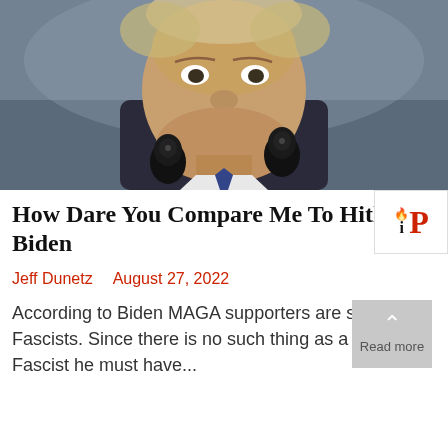[Figure (photo): Close-up photo of an older man with a frowning expression, with two microphones visible in the foreground and a mural/painting in the background.]
How Dare You Compare Me To Hitler, Jo Biden
Jeff Dunetz   August 27, 2022
According to Biden MAGA supporters are semi-Fascists. Since there is no such thing as a semi-Fascist he must have...